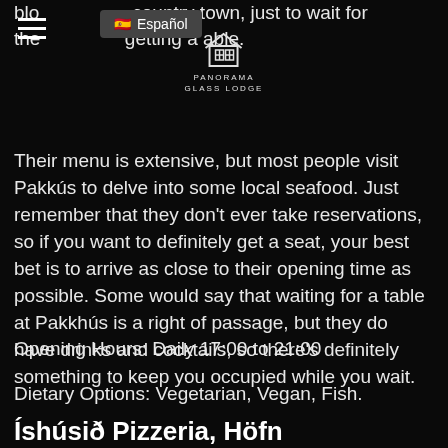blo... country town, just to wait for the... getting a table.
Their menu is extensive, but most people visit Pakkús to delve into some local seafood. Just remember that they don't ever take reservations, so if you want to definitely get a seat, your best bet is to arrive as close to their opening time as possible. Some would say that waiting for a table at Pakkhús is a right of passage, but they do have drinks and cocktails, so there's definitely something to keep you occupied while you wait.
Opening Hours: Daily 17:00 to 21:00
Dietary Options: Vegetarian, Vegan, Fish.
Íshúsið Pizzeria, Höfn